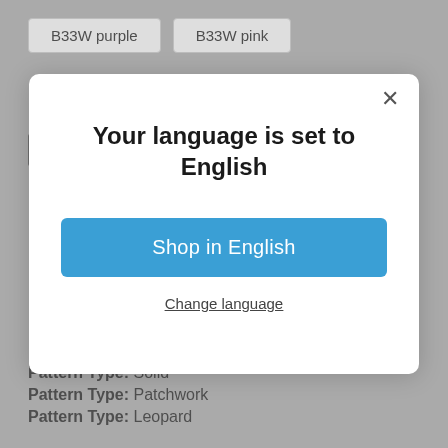B33W purple
B33W pink
SIZE
[Figure (screenshot): Modal dialog with title 'Your language is set to English', a blue 'Shop in English' button, and a 'Change language' link with a close (×) button in the top right corner.]
Your language is set to English
Shop in English
Change language
Pattern Type: Solid
Pattern Type: Patchwork
Pattern Type: Leopard